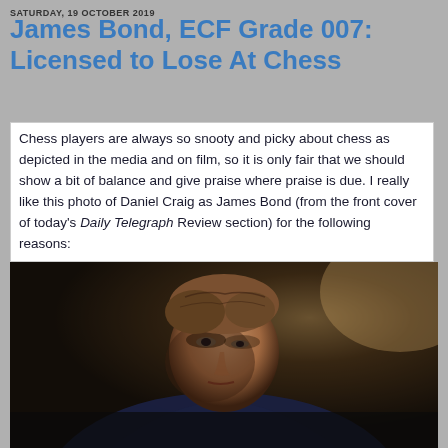SATURDAY, 19 OCTOBER 2019
James Bond, ECF Grade 007: Licensed to Lose At Chess
Chess players are always so snooty and picky about chess as depicted in the media and on film, so it is only fair that we should show a bit of balance and give praise where praise is due. I really like this photo of Daniel Craig as James Bond (from the front cover of today's Daily Telegraph Review section) for the following reasons:
[Figure (photo): Close-up photo of Daniel Craig as James Bond, looking downward with a serious expression, wearing a dark blue jacket, dark cinematic background with warm highlight on the right.]